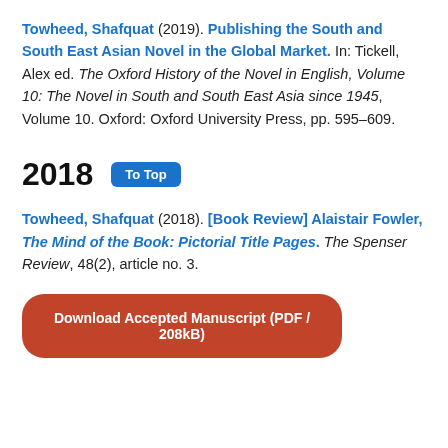Towheed, Shafquat (2019). Publishing the South and South East Asian Novel in the Global Market. In: Tickell, Alex ed. The Oxford History of the Novel in English, Volume 10: The Novel in South and South East Asia since 1945, Volume 10. Oxford: Oxford University Press, pp. 595–609.
2018
Towheed, Shafquat (2018). [Book Review] Alaistair Fowler, The Mind of the Book: Pictorial Title Pages. The Spenser Review, 48(2), article no. 3.
Download Accepted Manuscript (PDF / 208kB)